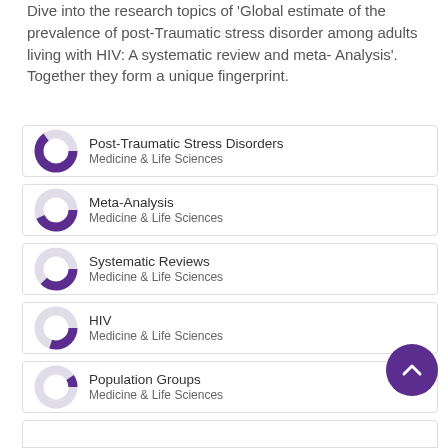Dive into the research topics of 'Global estimate of the prevalence of post-Traumatic stress disorder among adults living with HIV: A systematic review and meta-Analysis'. Together they form a unique fingerprint.
Post-Traumatic Stress Disorders — Medicine & Life Sciences
Meta-Analysis — Medicine & Life Sciences
Systematic Reviews — Medicine & Life Sciences
HIV — Medicine & Life Sciences
Population Groups — Medicine & Life Sciences